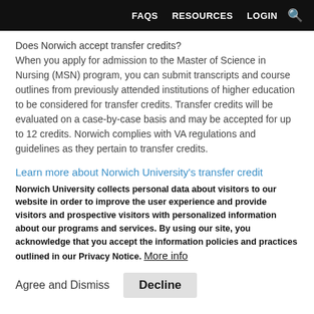FAQS   RESOURCES   LOGIN
Does Norwich accept transfer credits?
When you apply for admission to the Master of Science in Nursing (MSN) program, you can submit transcripts and course outlines from previously attended institutions of higher education to be considered for transfer credits. Transfer credits will be evaluated on a case-by-case basis and may be accepted for up to 12 credits. Norwich complies with VA regulations and guidelines as they pertain to transfer credits.
Learn more about Norwich University's transfer credit
Norwich University collects personal data about visitors to our website in order to improve the user experience and provide visitors and prospective visitors with personalized information about our programs and services. By using our site, you acknowledge that you accept the information policies and practices outlined in our Privacy Notice. More info
Agree and Dismiss   Decline